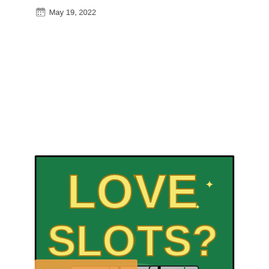May 19, 2022
[Figure (illustration): Promotional image for online slots with text 'LOVE SLOTS?' in large yellow letters on a green background, showing three slot machine reels with symbols: bell, orange, cherries (top row), three hearts (middle row), orange, BAR, strawberry (bottom row). Decorative sparkle stars around the image.]